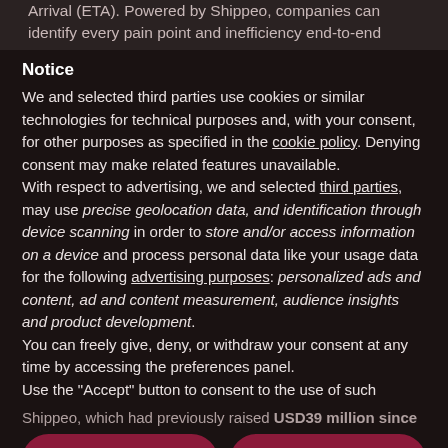Arrival (ETA). Powered by Shippeo, companies can identify every pain point and inefficiency end-to-end
Notice
We and selected third parties use cookies or similar technologies for technical purposes and, with your consent, for other purposes as specified in the cookie policy. Denying consent may make related features unavailable.
With respect to advertising, we and selected third parties, may use precise geolocation data, and identification through device scanning in order to store and/or access information on a device and process personal data like your usage data for the following advertising purposes: personalized ads and content, ad and content measurement, audience insights and product development.
You can freely give, deny, or withdraw your consent at any time by accessing the preferences panel.
Use the "Accept" button to consent to the use of such
Reject
Accept
Learn more and customize
Shippeo, which had previously raised USD39 million since
investment from Better Ventures and existing investors
Venture to strengthen its market leading position in